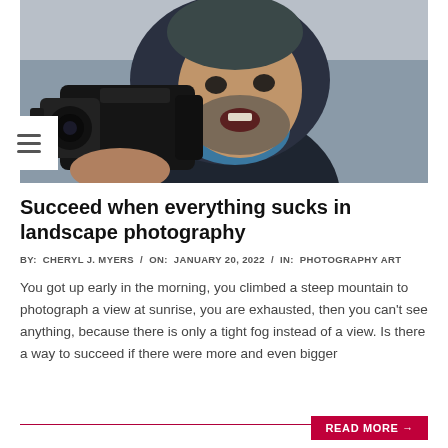[Figure (photo): A bearded man in a dark winter jacket and blue beanie/hood, holding a large camera with a telephoto lens up near his face, outdoors in snowy/foggy conditions]
Succeed when everything sucks in landscape photography
BY: CHERYL J. MYERS / ON: JANUARY 20, 2022 / IN: PHOTOGRAPHY ART
You got up early in the morning, you climbed a steep mountain to photograph a view at sunrise, you are exhausted, then you can't see anything, because there is only a tight fog instead of a view. Is there a way to succeed if there were more and even bigger